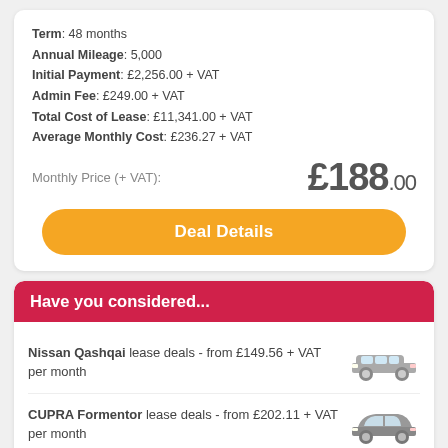Term: 48 months
Annual Mileage: 5,000
Initial Payment: £2,256.00 + VAT
Admin Fee: £249.00 + VAT
Total Cost of Lease: £11,341.00 + VAT
Average Monthly Cost: £236.27 + VAT
Monthly Price (+ VAT): £188.00
Deal Details
Have you considered...
Nissan Qashqai lease deals - from £149.56 + VAT per month
CUPRA Formentor lease deals - from £202.11 + VAT per month